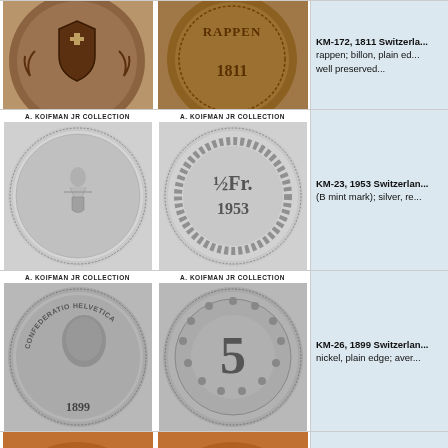[Figure (photo): Row 1: Two coin images - obverse showing Swiss shield with wreath, reverse showing RAPPEN 1811 text]
KM-172, 1811 Switzerland rappen; billon, plain ed... well preserved...
[Figure (photo): Row 2, left coin: A. KOIFMAN JR COLLECTION label, obverse of Swiss ½ franc with standing Helvetia figure]
[Figure (photo): Row 2, right coin: A. KOIFMAN JR COLLECTION label, reverse of Swiss ½ franc showing ½ Fr. 1953]
KM-23, 1953 Switzerland (B mint mark); silver, re...
[Figure (photo): Row 3, left coin: A. KOIFMAN JR COLLECTION label, obverse of 1899 Swiss 5 rappen with head and CONFEDERATIO HELVETICA]
[Figure (photo): Row 3, right coin: A. KOIFMAN JR COLLECTION label, reverse of 1899 Swiss 5 rappen showing large 5 with floral wreath]
KM-26, 1899 Switzerland nickel, plain edge; aver...
[Figure (photo): Row 4: Partial coin images, copper/bronze colored coins partially visible at bottom]